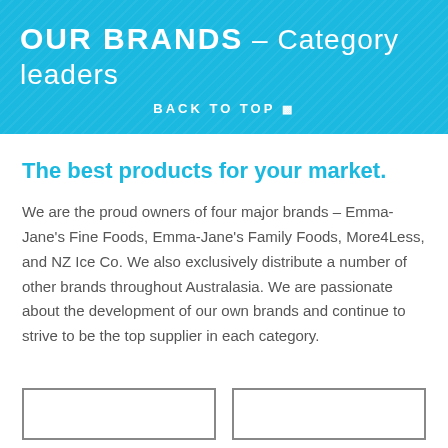OUR BRANDS – Category leaders
BACK TO TOP ↑
The best products for your market.
We are the proud owners of four major brands – Emma-Jane's Fine Foods, Emma-Jane's Family Foods, More4Less, and NZ Ice Co. We also exclusively distribute a number of other brands throughout Australasia. We are passionate about the development of our own brands and continue to strive to be the top supplier in each category.